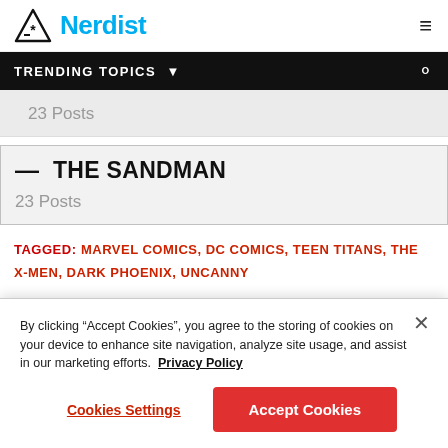Nerdist
TRENDING TOPICS
23 Posts
— THE SANDMAN
23 Posts
TAGGED: MARVEL COMICS, DC COMICS, TEEN TITANS, THE X-MEN, DARK PHOENIX, UNCANNY
By clicking "Accept Cookies", you agree to the storing of cookies on your device to enhance site navigation, analyze site usage, and assist in our marketing efforts. Privacy Policy
Cookies Settings
Accept Cookies